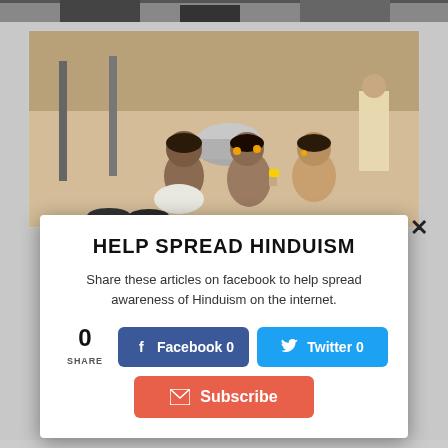[Figure (photo): Partial top image strip showing dark background, cropped photo of people]
[Figure (photo): Children sitting on the ground eating, with a metal container visible, outdoor setting in India]
×
HELP SPREAD HINDUISM
Share these articles on facebook to help spread awareness of Hinduism on the internet.
0 SHARE
Facebook 0
Twitter 0
Subscribe